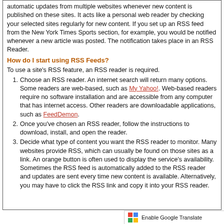Syndication. RSS is a system that allows a user to get automatic updates from multiple websites whenever new content is published on these sites. It acts like a personal web reader by checking your selected sites regularly for new content. If you set up an RSS feed from the New York Times Sports section, for example, you would be notified whenever a new article was posted. The notification takes place in an RSS Reader.
How do I start using RSS Feeds?
To use a site's RSS feature, an RSS reader is required.
1. Choose an RSS reader. An internet search will return many options. Some readers are web-based, such as My Yahoo!. Web-based readers require no software installation and are accessible from any computer that has internet access. Other readers are downloadable applications, such as FeedDemon.
2. Once you've chosen an RSS reader, follow the instructions to download, install, and open the reader.
3. Decide what type of content you want the RSS reader to monitor. Many websites provide RSS, which can usually be found on those sites as a link. An orange button is often used to display the service's availability. Sometimes the RSS feed is automatically added to the RSS reader and updates are sent every time new content is available. Alternatively, you may have to click the RSS link and copy it into your RSS reader.
Enable Google Translate